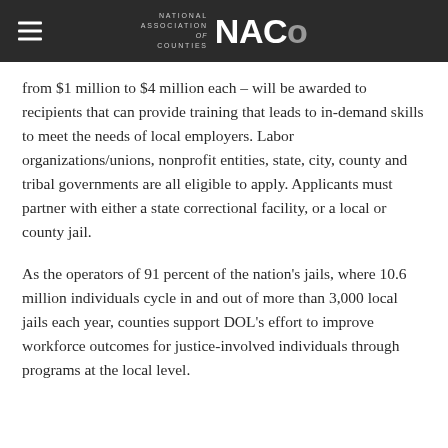NATIONAL ASSOCIATION of COUNTIES NACo
from $1 million to $4 million each – will be awarded to recipients that can provide training that leads to in-demand skills to meet the needs of local employers. Labor organizations/unions, nonprofit entities, state, city, county and tribal governments are all eligible to apply. Applicants must partner with either a state correctional facility, or a local or county jail.
As the operators of 91 percent of the nation's jails, where 10.6 million individuals cycle in and out of more than 3,000 local jails each year, counties support DOL's effort to improve workforce outcomes for justice-involved individuals through programs at the local level.